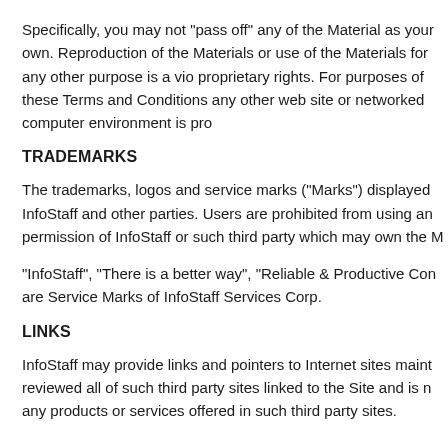Specifically, you may not "pass off" any of the Material as your own. Reproduction of the Materials or use of the Materials for any other purpose is a violation of InfoStaff's copyright and other proprietary rights. For purposes of these Terms and Conditions, the use of any such material on any other web site or networked computer environment is prohibited.
TRADEMARKS
The trademarks, logos and service marks ("Marks") displayed on this Site are the property of InfoStaff and other parties. Users are prohibited from using any Marks without the written permission of InfoStaff or such third party which may own the Marks.
"InfoStaff", "There is a better way", "Reliable & Productive Connections" and "InfoStaff.com" are Service Marks of InfoStaff Services Corp.
LINKS
InfoStaff may provide links and pointers to Internet sites maintained by third parties. InfoStaff has not reviewed all of such third party sites linked to the Site and is not responsible for the content of or any products or services offered in such third party sites.